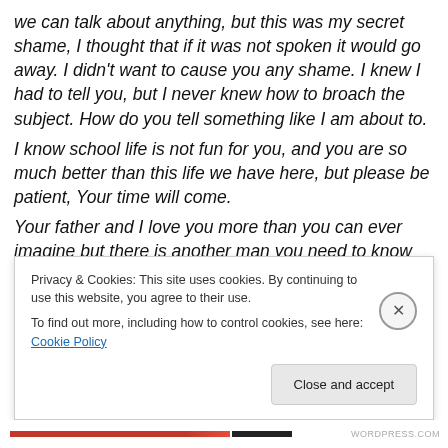we can talk about anything, but this was my secret shame, I thought that if it was not spoken it would go away. I didn't want to cause you any shame. I knew I had to tell you, but I never knew how to broach the subject. How do you tell something like I am about to.
I know school life is not fun for you, and you are so much better than this life we have here, but please be patient, Your time will come.
Your father and I love you more than you can ever imagine but there is another man you need to know about.  James knows him, and is forever in his debt.
Privacy & Cookies: This site uses cookies. By continuing to use this website, you agree to their use.
To find out more, including how to control cookies, see here: Cookie Policy